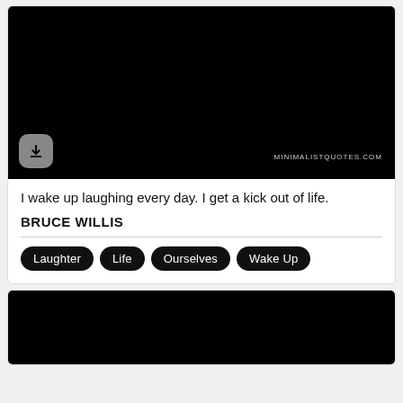[Figure (photo): Black image with a download button (gray rounded square with down arrow) in bottom-left and watermark text 'MINIMALISTQUOTES.COM' in bottom-right]
I wake up laughing every day. I get a kick out of life.
BRUCE WILLIS
Laughter
Life
Ourselves
Wake Up
[Figure (photo): Black image (partially visible second card)]